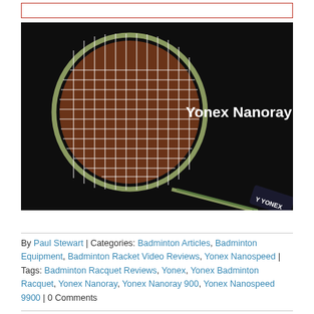[Figure (photo): Photo of a Yonex Nanoray 900 badminton racket against a dark background, with white text 'Yonex Nanoray 900' on the right side of the image. The racket shows its head with white strings and a black handle with Yonex branding.]
By Paul Stewart | Categories: Badminton Articles, Badminton Equipment, Badminton Racket Video Reviews, Yonex Nanospeed | Tags: Badminton Racquet Reviews, Yonex, Yonex Badminton Racquet, Yonex Nanoray, Yonex Nanoray 900, Yonex Nanospeed 9900 | 0 Comments